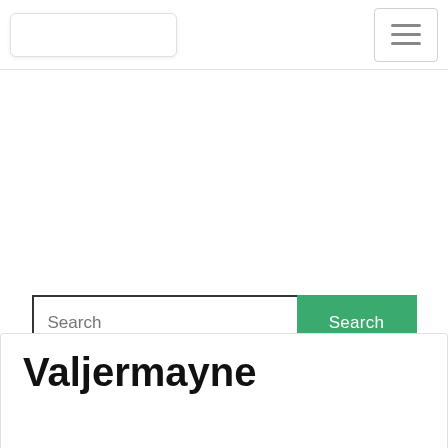[Figure (screenshot): Website navigation bar with logo placeholder on left and hamburger menu icon on right]
[Figure (screenshot): Search bar with text input field labeled 'Search' and a green 'Search' button]
Valjermayne